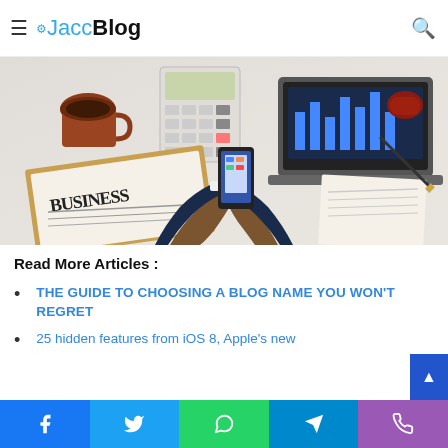JaccBlog
[Figure (photo): Overhead view of a business desk with person holding smartphone, laptop showing charts, calculator, coffee cup, newspaper and documents]
Read More Articles :
THE GUIDE TO CHOOSING A BLOG NAME YOU WON'T REGRET
25 hidden features from iOS 8, Apple's new
Social share bar: Facebook, Twitter, WhatsApp, Telegram, Phone